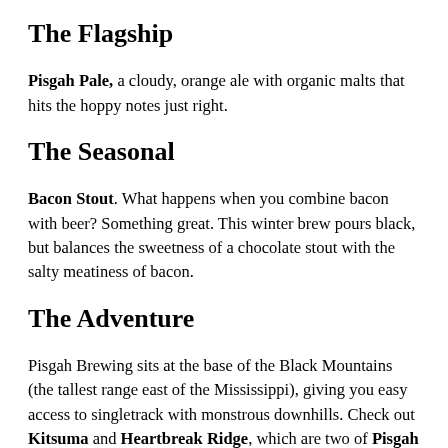The Flagship
Pisgah Pale, a cloudy, orange ale with organic malts that hits the hoppy notes just right.
The Seasonal
Bacon Stout. What happens when you combine bacon with beer? Something great. This winter brew pours black, but balances the sweetness of a chocolate stout with the salty meatiness of bacon.
The Adventure
Pisgah Brewing sits at the base of the Black Mountains (the tallest range east of the Mississippi), giving you easy access to singletrack with monstrous downhills. Check out Kitsuma and Heartbreak Ridge, which are two of Pisgah National Forest's classic descents, or hike-a-bikes, depending on your prowess. If you're an angler, you can't beat the crowd-free and gin-clear water of Curtis Creek, which drops steeply off the scarps wall of the Black Mountain Range, but the access road...